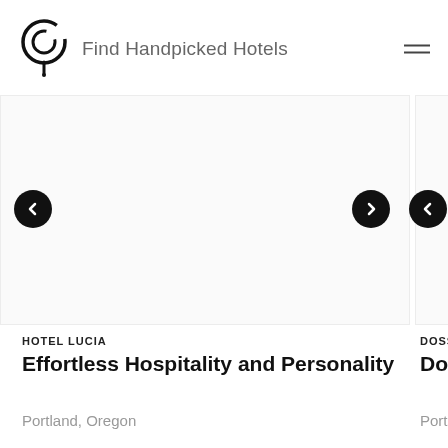Find Handpicked Hotels
[Figure (screenshot): Hotel carousel with two partially visible hotel cards. Left card shows Hotel Lucia with nav arrows. Right card partially visible shows Dossier hotel.]
HOTEL LUCIA
Effortless Hospitality and Personality
Portland, Oregon
DOSSIE
Dossi
Portlan